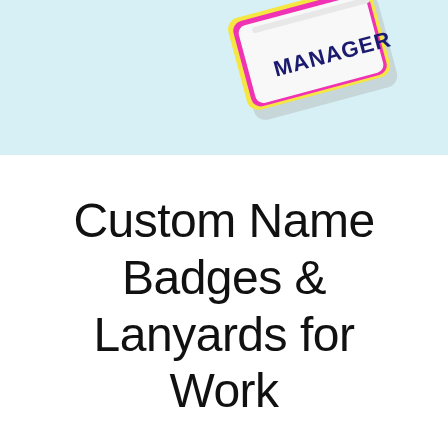[Figure (photo): A custom name badge with colorful border (pink, yellow) showing the word MANAGER in bold dark text, photographed at an angle on a light blue background.]
Custom Name Badges & Lanyards for Work